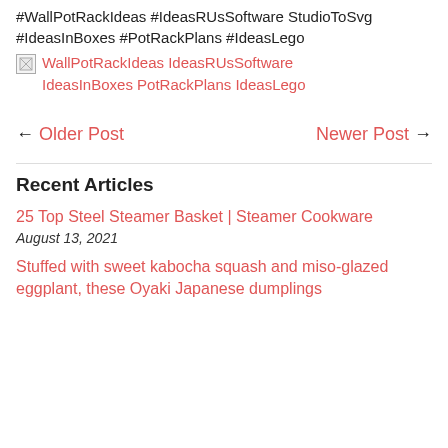#WallPotRackIdeas #IdeasRUsSoftware StudioToSvg #IdeasInBoxes #PotRackPlans #IdeasLego
[Figure (photo): Broken image placeholder with alt text: WallPotRackIdeas IdeasRUsSoftware IdeasInBoxes PotRackPlans IdeasLego]
← Older Post
Newer Post →
Recent Articles
25 Top Steel Steamer Basket | Steamer Cookware
August 13, 2021
Stuffed with sweet kabocha squash and miso-glazed eggplant, these Oyaki Japanese dumplings